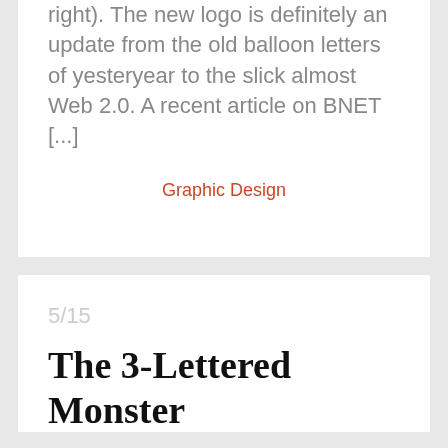right). The new logo is definitely an update from the old balloon letters of yesteryear to the slick almost Web 2.0. A recent article on BNET [...]
Graphic Design
5/15
The 3-Lettered Monster